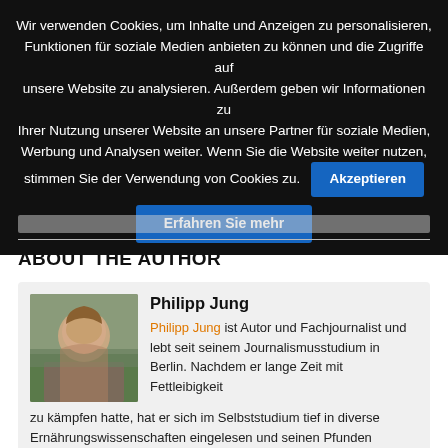Wir verwenden Cookies, um Inhalte und Anzeigen zu personalisieren, Funktionen für soziale Medien anbieten zu können und die Zugriffe auf unsere Website zu analysieren. Außerdem geben wir Informationen zu Ihrer Nutzung unserer Website an unsere Partner für soziale Medien, Werbung und Analysen weiter. Wenn Sie die Website weiter nutzen, stimmen Sie der Verwendung von Cookies zu.
Akzeptieren
Erfahren Sie mehr
ABOUT THE AUTHOR
Philipp Jung
Philipp Jung ist Autor und Fachjournalist und lebt seit seinem Journalismusstudium in Berlin. Nachdem er lange Zeit mit Fettleibigkeit zu kämpfen hatte, hat er sich im Selbststudium tief in diverse Ernährungswissenschaften eingelesen und seinen Pfunden überaus erfolgreich den Kampf